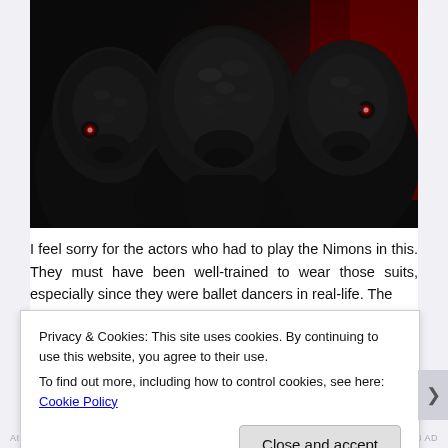[Figure (photo): Three dark monster/alien creature figures (Nimons) in black suits with textured faces and small red eyes, photographed close-up against a dark and red background.]
I feel sorry for the actors who had to play the Nimons in this. They must have been well-trained to wear those suits, especially since they were ballet dancers in real-life. The
Privacy & Cookies: This site uses cookies. By continuing to use this website, you agree to their use.
To find out more, including how to control cookies, see here: Cookie Policy
Close and accept
AIRPORT 1148 AD